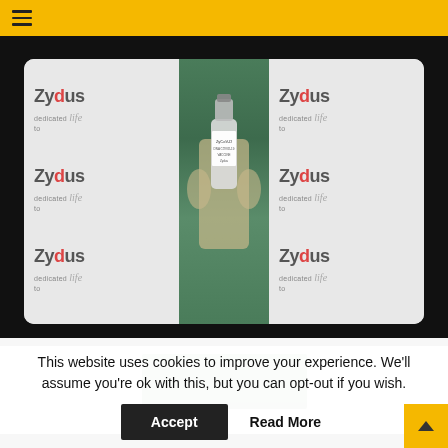Zydus dedicated to life — website header with hamburger menu
[Figure (photo): Zydus branded backdrop with a gloved hand holding a Zydus vaccine vial in the center, surrounded by Zydus 'dedicated to life' logos on left and right panels]
[Figure (photo): Partial thumbnail image visible below the main photo, showing green/teal background similar to the main image]
This website uses cookies to improve your experience. We'll assume you're ok with this, but you can opt-out if you wish.
Accept
Read More